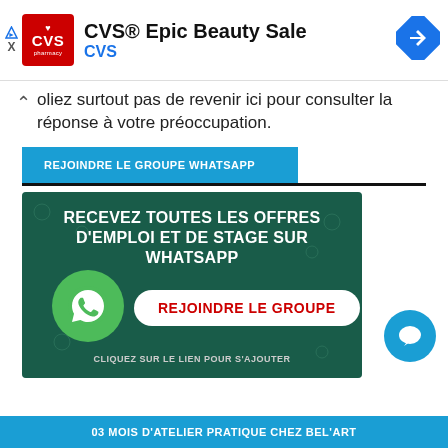[Figure (screenshot): CVS Pharmacy advertisement banner with logo, title 'CVS® Epic Beauty Sale', subtitle 'CVS', and a navigation arrow icon]
oliez surtout pas de revenir ici pour consulter la réponse à votre préoccupation.
REJOINDRE LE GROUPE WHATSAPP
[Figure (infographic): WhatsApp group promotional banner with dark green background, text 'RECEVEZ TOUTES LES OFFRES D'EMPLOI ET DE STAGE SUR WHATSAPP', WhatsApp logo circle, 'REJOINDRE LE GROUPE' button in red text, and 'CLIQUEZ SUR LE LIEN POUR S'AJOUTER' text]
03 MOIS D'ATELIER PRATIQUE CHEZ BEL'ART